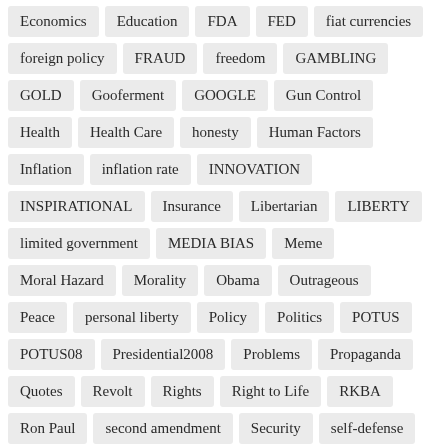Economics
Education
FDA
FED
fiat currencies
foreign policy
FRAUD
freedom
GAMBLING
GOLD
Gooferment
GOOGLE
Gun Control
Health
Health Care
honesty
Human Factors
Inflation
inflation rate
INNOVATION
INSPIRATIONAL
Insurance
Libertarian
LIBERTY
limited government
MEDIA BIAS
Meme
Moral Hazard
Morality
Obama
Outrageous
Peace
personal liberty
Policy
Politics
POTUS
POTUS08
Presidential2008
Problems
Propaganda
Quotes
Revolt
Rights
Right to Life
RKBA
Ron Paul
second amendment
Security
self-defense
SOCIALISM
Social Security
Tax
Taxes
Tax Revolt
Taylor Swift
TFH911